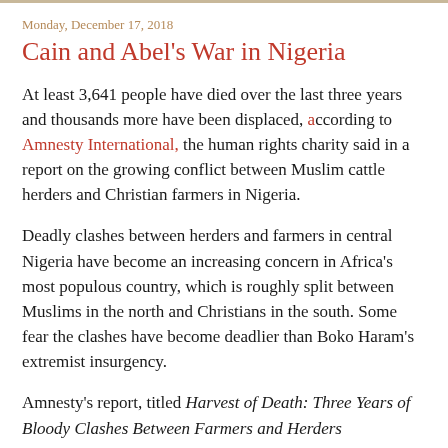Monday, December 17, 2018
Cain and Abel's War in Nigeria
At least 3,641 people have died over the last three years and thousands more have been displaced, according to Amnesty International, the human rights charity said in a report on the growing conflict between Muslim cattle herders and Christian farmers in Nigeria.
Deadly clashes between herders and farmers in central Nigeria have become an increasing concern in Africa's most populous country, which is roughly split between Muslims in the north and Christians in the south. Some fear the clashes have become deadlier than Boko Haram's extremist insurgency.
Amnesty's report, titled Harvest of Death: Three Years of Bloody Clashes Between Farmers and Herders